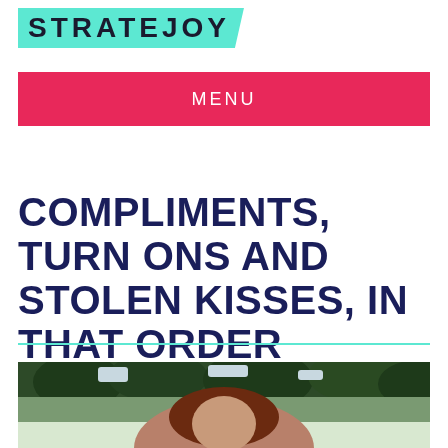STRATEJOY
MENU
COMPLIMENTS, TURN ONS AND STOLEN KISSES, IN THAT ORDER
[Figure (photo): A person with reddish-brown hair photographed outdoors with trees in the background]